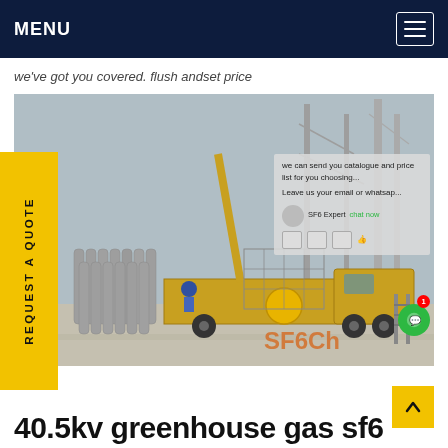MENU
we've got you covered. flushandset price
[Figure (photo): Industrial scene showing gas cylinders stacked on ground near a yellow truck/crane at an electrical substation with large transmission towers. A worker in blue helmet is visible. Overlaid chat popup visible on photo.]
REQUEST A QUOTE
SF6Ch
40.5kv greenhouse gas sf6